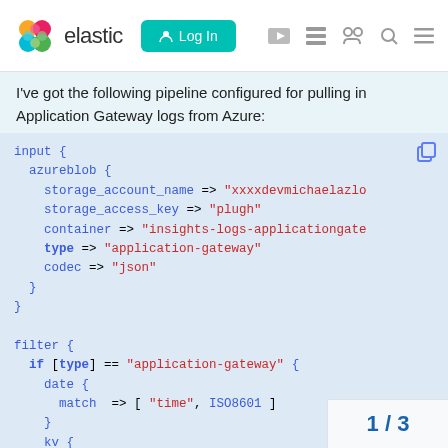elastic  Log In
I've got the following pipeline configured for pulling in Application Gateway logs from Azure:
[Figure (screenshot): Code block showing Logstash pipeline configuration with input azureblob and filter sections]
1 / 3